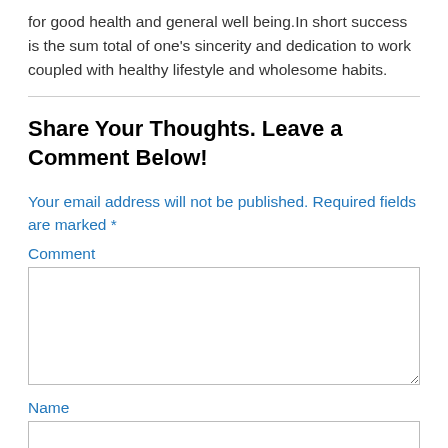for good health and general well being.In short success is the sum total of one's sincerity and dedication to work coupled with healthy lifestyle and wholesome habits.
Share Your Thoughts. Leave a Comment Below!
Your email address will not be published. Required fields are marked *
Comment
Name